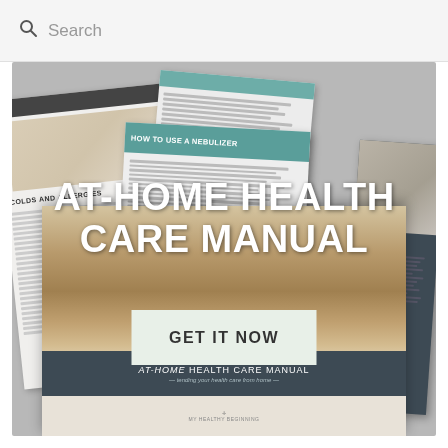Search
[Figure (photo): Promotional image for At-Home Health Care Manual showing scattered document pages including 'Colds and Allergies' and 'How to Use a Nebulizer', with a wooden crate containing medical supplies in the foreground. Large text overlay reads 'AT-HOME HEALTH CARE MANUAL' and a call-to-action button says 'GET IT NOW'.]
AT-HOME HEALTH CARE MANUAL
GET IT NOW